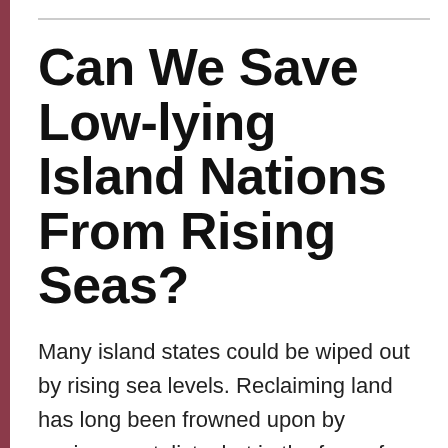Can We Save Low-lying Island Nations From Rising Seas?
Many island states could be wiped out by rising sea levels. Reclaiming land has long been frowned upon by environmentalists, but in the face of climate change, it may be these islands' only hope.